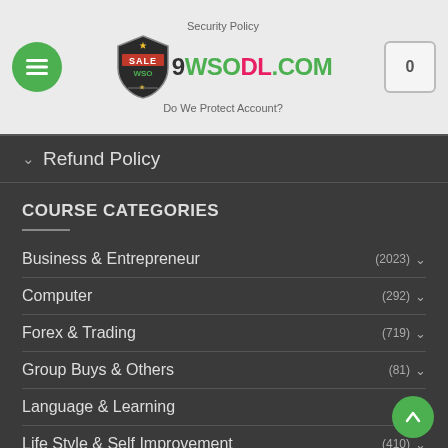[Figure (screenshot): Website header with hamburger menu button (green circle), SALE WSO shield logo, 9WSODL.COM site name, and cart button showing 0]
Security Policy
Do We Protect Account?
Refund Policy
COURSE CATEGORIES
Business & Entrepreneur (2023)
Computer (292)
Forex & Trading (719)
Group Buys & Others (81)
Language & Learning
Life Style & Self Improvement (410)